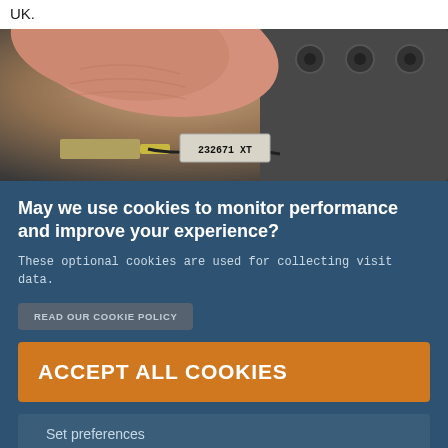UK.
[Figure (photo): Close-up photo of fingers holding a small electronic component labeled '232671 XT']
May we use cookies to monitor performance and improve your experience?
These optional cookies are used for collecting visit data.
READ OUR COOKIE POLICY
ACCEPT ALL COOKIES
Set preferences